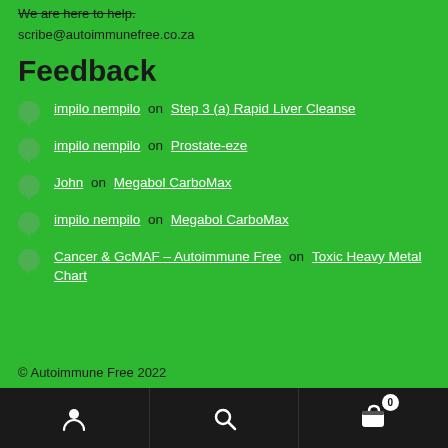scribe@autoimmunefree.co.za
Feedback
impilo nempilo on Step 3 (a) Rapid Liver Cleanse
impilo nempilo on Prostate-eze
John on Megabol CarboMax
impilo nempilo on Megabol CarboMax
Cancer & GcMAF – Autoimmune Free on Toxic Heavy Metal Chart
© Autoimmune Free 2022